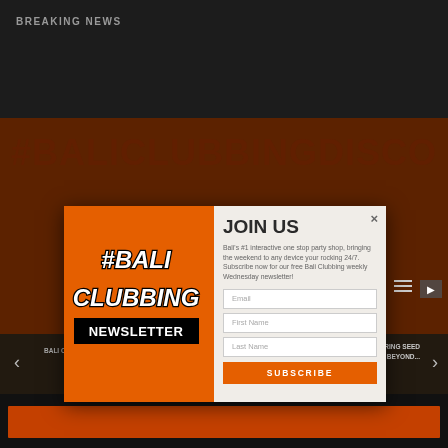BREAKING NEWS
[Figure (screenshot): Popup modal for Bali Clubbing Newsletter with orange left panel showing #BALI CLUBBING NEWSLETTER logo and right panel with JOIN US heading, description text, email/name form fields, and Subscribe button]
JOIN US
Bali's #1 interactive one stop party shop, bringing the weekend to any device your rocking 24/7. Subscribe now for our free Bali Clubbing weekly Wednesday newsletter!
Email
First Name
Last Name
SUBSCRIBE